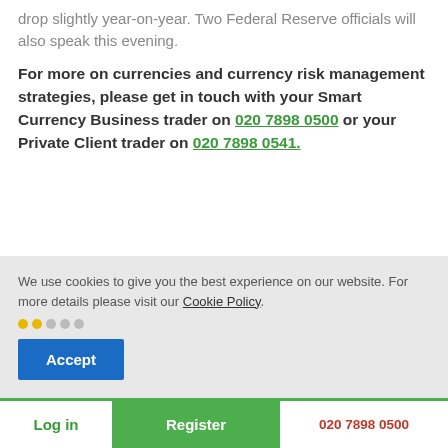drop slightly year-on-year. Two Federal Reserve officials will also speak this evening.
For more on currencies and currency risk management strategies, please get in touch with your Smart Currency Business trader on 020 7898 0500 or your Private Client trader on 020 7898 0541.
We use cookies to give you the best experience on our website. For more details please visit our Cookie Policy.
Accept
Log in | Register | 020 7898 0500